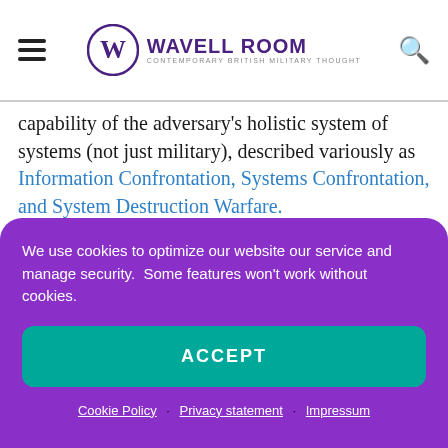Wavell Room — Contemporary British Military Thought
capability of the adversary's holistic system of systems (not just military), described variously as Information Confrontation, Systems Confrontation, and System Destruction Warfare.
Given the real and accelerating threat faced we may be nearing the point where radical change needs to be implemented. Golden or Nicholas, former of the US...
We use cookies to optimize our website our service and manage security.  Some features won't work without cookies.
ACCEPT
Cookie Policy · Privacy statement · Impressum